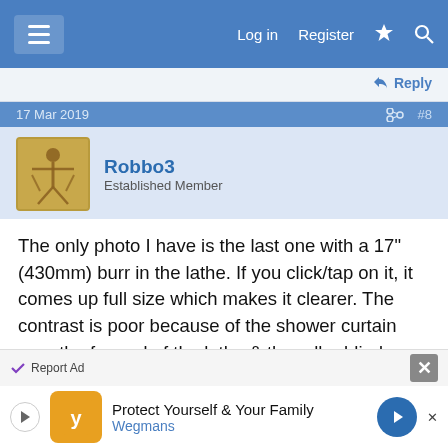Log in  Register
Reply
17 Mar 2019  #8
Robbo3
Established Member
The only photo I have is the last one with a 17" (430mm) burr in the lathe. If you click/tap on it, it comes up full size which makes it clearer. The contrast is poor because of the shower curtain over the far end of the lathe & the roller blind on the right which stops the shavings being thrown all over the workshop.

The main of the forces are downwards. Had I used thicker material I may not have needed a leg but one is
Report Ad  Protect Yourself & Your Family  Wegmans